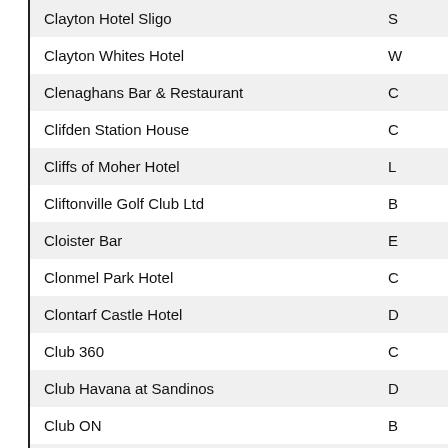| Name | Location |
| --- | --- |
| Clayton Hotel Sligo | S |
| Clayton Whites Hotel | W |
| Clenaghans Bar & Restaurant | C |
| Clifden Station House | C |
| Cliffs of Moher Hotel | L |
| Cliftonville Golf Club Ltd | B |
| Cloister Bar | E |
| Clonmel Park Hotel | C |
| Clontarf Castle Hotel | D |
| Club 360 | C |
| Club Havana at Sandinos | D |
| Club ON | B |
| Clyd Tavern | C |
| Coach Group Banbridge | B |
| Coachman Inn | M |
| Coast Restaurant | H |
| Cobbles | N |
| Cohannon Inn | D |